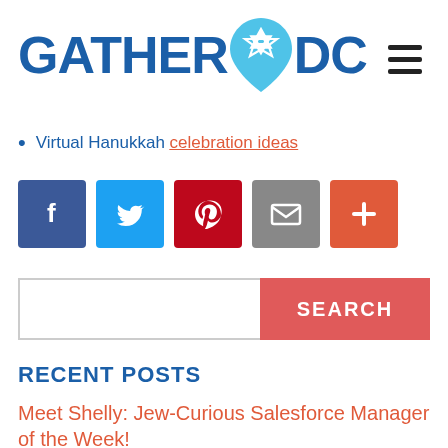[Figure (logo): GatherDC logo with blue bold text GATHER and DC with a location pin icon containing a Star of David in between, and a hamburger menu icon on the right]
Virtual Hanukkah celebration ideas
[Figure (infographic): Social sharing buttons row: Facebook (dark blue), Twitter (light blue), Pinterest (red), Email (gray), Plus/more (orange-red)]
[Figure (other): Search bar with text input and red SEARCH button]
RECENT POSTS
Meet Shelly: Jew-Curious Salesforce Manager of the Week!